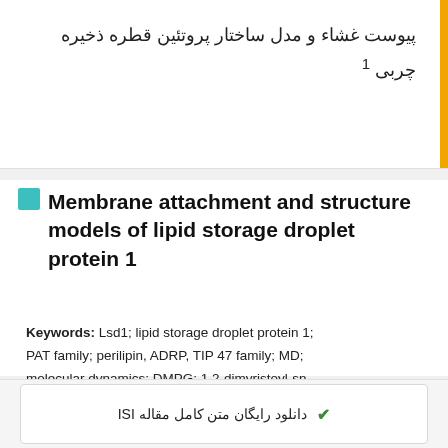پیوست غشاء و مدل ساختار پروتئین قطره ذخیره چربی 1
Membrane attachment and structure models of lipid storage droplet protein 1
Keywords: Lsd1; lipid storage droplet protein 1; PAT family; perilipin, ADRP, TIP 47 family; MD; molecular dynamics; DMPG; 1,2-dimyristoyl-sn-glycero-3-phosphoglycerol; MAS; magic-angle spinning; CP; cross polarization; DARR; dipolar-assisted rotational resonance;
✔ دانلود رایگان متن کامل مقاله ISI